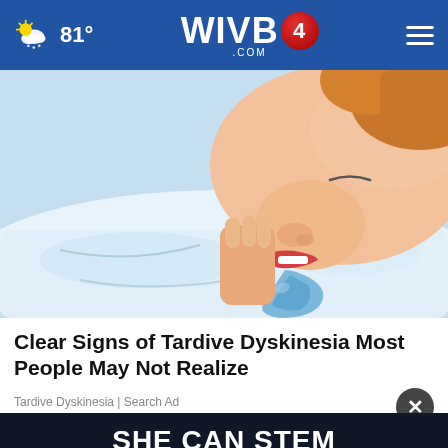81° WIVB4.COM
[Figure (illustration): Cartoon/illustration of a person sleeping with mouth open drooling onto a pillow, shown in close-up profile view with blue drool stain on white pillow]
Clear Signs of Tardive Dyskinesia Most People May Not Realize
Tardive Dyskinesia | Search Ad
[Figure (screenshot): Dark navy advertisement banner reading SHE CAN STEM in bold white letters]